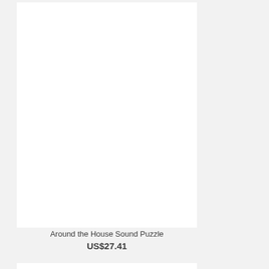[Figure (photo): Product image placeholder - white rectangle for Around the House Sound Puzzle]
Around the House Sound Puzzle
US$27.41
[Figure (photo): Second product image placeholder - white rectangle]